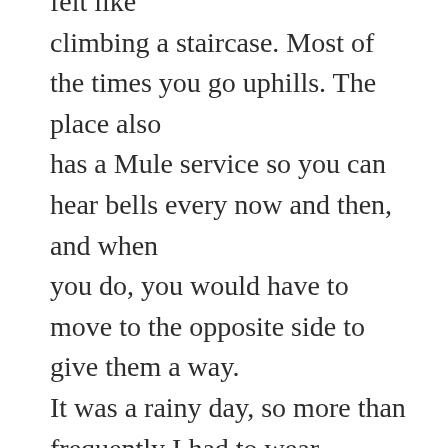felt like climbing a staircase. Most of the times you go uphills. The place also has a Mule service so you can hear bells every now and then, and when you do, you would have to move to the opposite side to give them a way. It was a rainy day, so more than frequently I had to wear poncho. At one point I got an idea that I should have got poncho in every color, so at least I could wear different colors if it was going to rain everyday. On the way to Ghangaria, we got more familiar with the fellow trekkers. We were 24 trekkers in